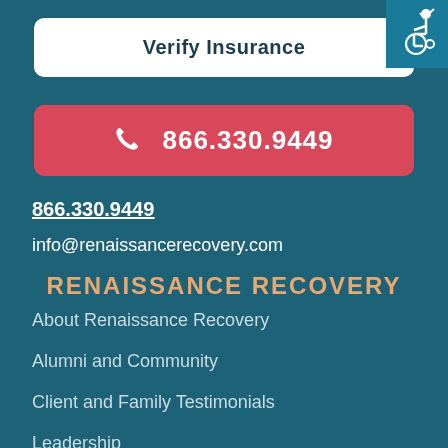[Figure (illustration): Accessibility wheelchair icon in teal box at top right corner]
Verify Insurance
866.330.9449
866.330.9449
info@renaissancerecovery.com
RENAISSANCE RECOVERY
About Renaissance Recovery
Alumni and Community
Client and Family Testimonials
Leadership
Contact Renaissance Recovery